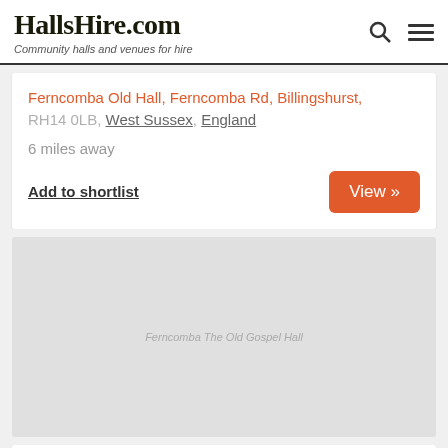HallsHire.com — Community halls and venues for hire
RH14 0LB, West Sussex, England
6 miles away
Add to shortlist
View »
[Figure (photo): Gray placeholder image for Ferncomba The Old Gospel Hall]
Ferncomba The Old Gospel Hall